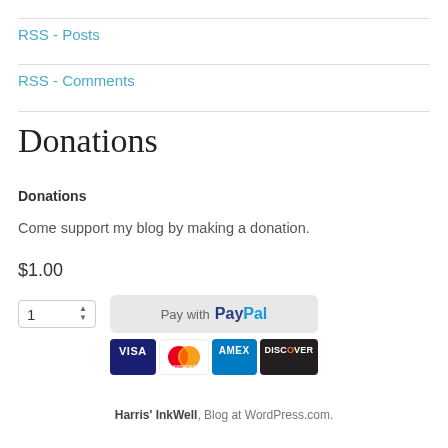RSS - Posts
RSS - Comments
Donations
Donations
Come support my blog by making a donation.
$1.00
[Figure (screenshot): Quantity spinner showing '1', and a PayPal payment button with credit card logos (VISA, Mastercard, AMEX, DISCOVER)]
Harris' InkWell, Blog at WordPress.com.